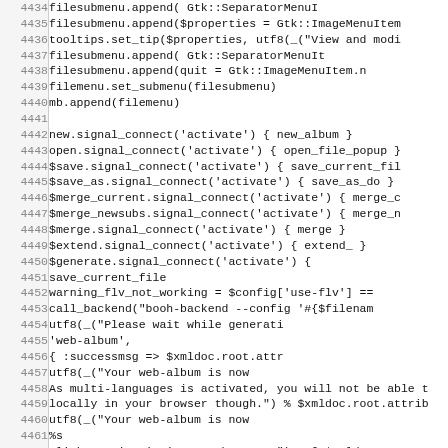[Figure (screenshot): Source code listing in monospace font showing lines 4434-4466 of a Ruby/GTK program dealing with file menus, signal connections, and web album generation. Line numbers are shown in a grayish column on the left, code content on the right with white background.]